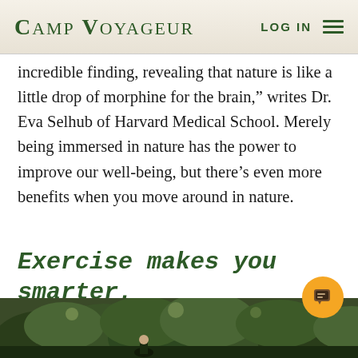CAMP VOYAGEUR   LOG IN
incredible finding, revealing that nature is like a little drop of morphine for the brain,” writes Dr. Eva Selhub of Harvard Medical School. Merely being immersed in nature has the power to improve our well-being, but there’s even more benefits when you move around in nature.
Exercise makes you smarter.
[Figure (photo): Outdoor nature scene with trees and foliage, appears to show people at a camp setting]